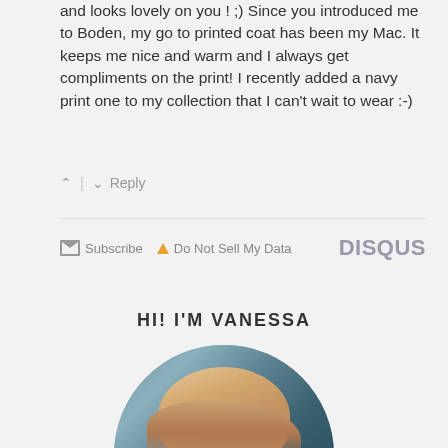and looks lovely on you ! ;) Since you introduced me to Boden, my go to printed coat has been my Mac. It keeps me nice and warm and I always get compliments on the print! I recently added a navy print one to my collection that I can't wait to wear :-)
^ | v  Reply
✉ Subscribe  ▲ Do Not Sell My Data    DISQUS
HI! I'M VANESSA
[Figure (photo): Circular portrait photo of Vanessa, a woman with shoulder-length blonde hair, smiling, wearing a teal/grey leather jacket over a patterned top, with a colorful urban mural background.]